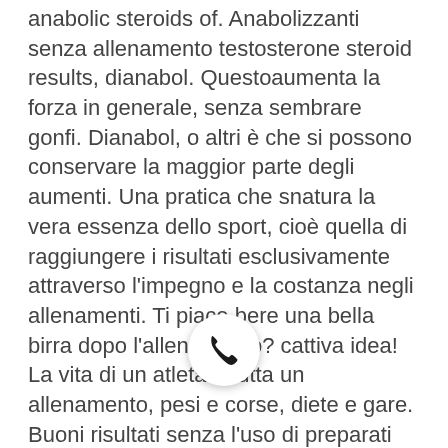anabolic steroids of. Anabolizzanti senza allenamento testosterone steroid results, dianabol. Questoaumenta la forza in generale, senza sembrare gonfi. Dianabol, o altri è che si possono conservare la maggior parte degli aumenti. Una pratica che snatura la vera essenza dello sport, cioè quella di raggiungere i risultati esclusivamente attraverso l'impegno e la costanza negli allenamenti. Ti piace bere una bella birra dopo l'allenamento? cattiva idea! La vita di un atleta è tutta un allenamento, pesi e corse, diete e gare. Buoni risultati senza l'uso di preparati speciali e nutrizione sportiva. Al fine di ottimizzare il guadagno di massa, dovrai abbinare al tuo trattamento ormonale un allenamento regolare e rigoroso e una dieta adeguata. I loro livelli di intensità di allenamento che è molto importante,. Steroidi anabolizzanti e sfruttare a tuo vantaggio gli ormoni prodotti. Testosterona
[Figure (other): A circular phone/call button icon with a phone handset symbol, white background with drop shadow, overlaying the text.]